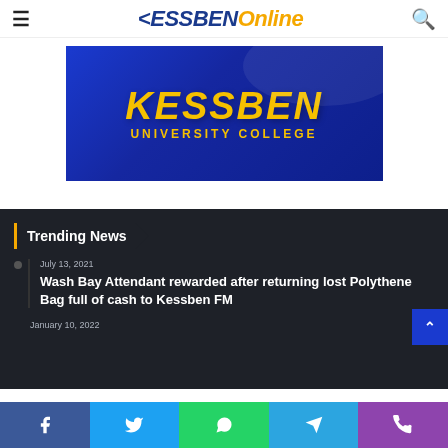KessbenOnline
[Figure (logo): Kessben University College advertisement banner with blue background and yellow text]
Trending News
July 13, 2021
Wash Bay Attendant rewarded after returning lost Polythene Bag full of cash to Kessben FM
Facebook Twitter WhatsApp Telegram Phone social share bar